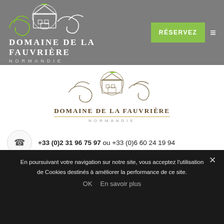[Figure (logo): Domaine de la Fauvrière Normandie logo in white on grey header bar with green RÉSERVEZ button and hamburger menu]
[Figure (logo): Domaine de la Fauvrière Normandie logo centered in white content area with ornamental design]
+33 (0)2 31 96 75 97 ou +33 (0)6 60 24 19 94
contact@domainedelafauvriere.com
En poursuivant votre navigation sur notre site, vous acceptez l'utilisation de Cookies destinés à améliorer la performance de ce site.
OK  En savoir plus